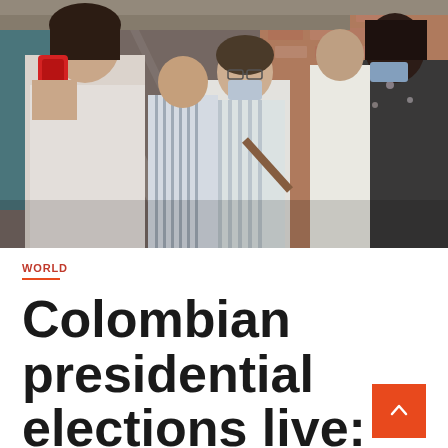[Figure (photo): People standing in line, one woman in foreground talking on a red mobile phone, others wearing masks and casual clothes, brick wall background, Colombian election polling location]
WORLD
Colombian presidential elections live: